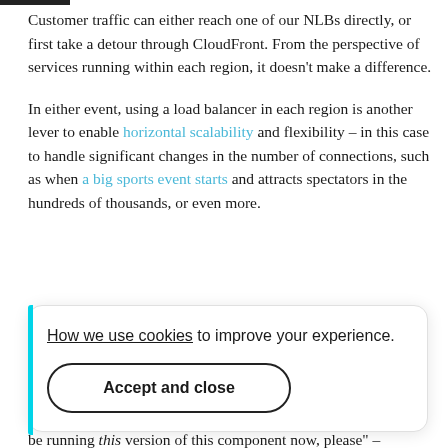Customer traffic can either reach one of our NLBs directly, or first take a detour through CloudFront. From the perspective of services running within each region, it doesn't make a difference.
In either event, using a load balancer in each region is another lever to enable horizontal scalability and flexibility – in this case to handle significant changes in the number of connections, such as when a big sports event starts and attracts spectators in the hundreds of thousands, or even more.
How we use cookies to improve your experience. Accept and close
aningfully in , developers luster should be running this version of this component now, please" –